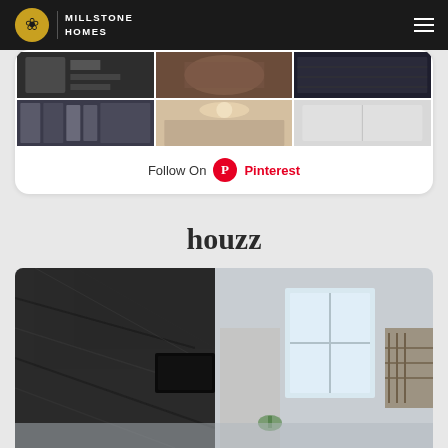[Figure (logo): Millstone Homes logo with crest on dark header bar]
[Figure (screenshot): Pinterest widget with grid of interior home photos and Follow On Pinterest button]
houzz
[Figure (photo): Interior room photo showing dark stone/marble fireplace wall with TV and bright window]